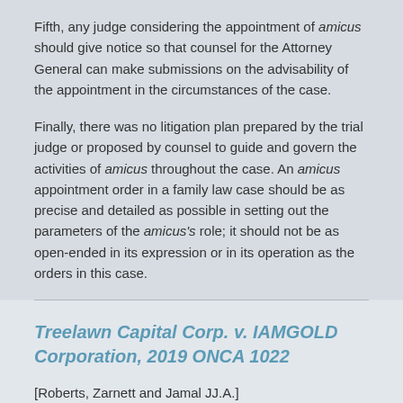Fifth, any judge considering the appointment of amicus should give notice so that counsel for the Attorney General can make submissions on the advisability of the appointment in the circumstances of the case.
Finally, there was no litigation plan prepared by the trial judge or proposed by counsel to guide and govern the activities of amicus throughout the case. An amicus appointment order in a family law case should be as precise and detailed as possible in setting out the parameters of the amicus's role; it should not be as open-ended in its expression or in its operation as the orders in this case.
Treelawn Capital Corp. v. IAMGOLD Corporation, 2019 ONCA 1022
[Roberts, Zarnett and Jamal JJ.A.]